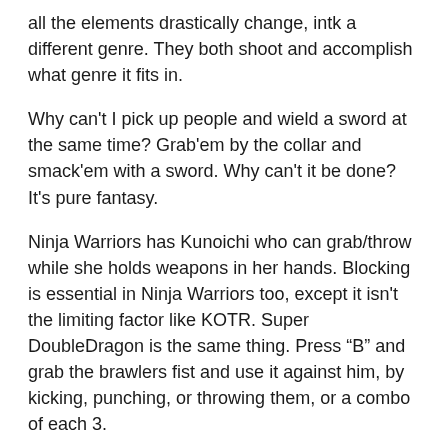all the elements drastically change, intk a different genre. They both shoot and accomplish what genre it fits in.
Why can't I pick up people and wield a sword at the same time? Grab'em by the collar and smack'em with a sword. Why can't it be done? It's pure fantasy.
Ninja Warriors has Kunoichi who can grab/throw while she holds weapons in her hands. Blocking is essential in Ninja Warriors too, except it isn't the limiting factor like KOTR. Super DoubleDragon is the same thing. Press "B" and grab the brawlers fist and use it against him, by kicking, punching, or throwing them, or a combo of each 3.
The controls, on the physical pad itself, are fine, and the option to change the key layout is fine. I purely mean controlling, within the environment itself; Moving around, and diagonally, punching, jumping, et cetera.